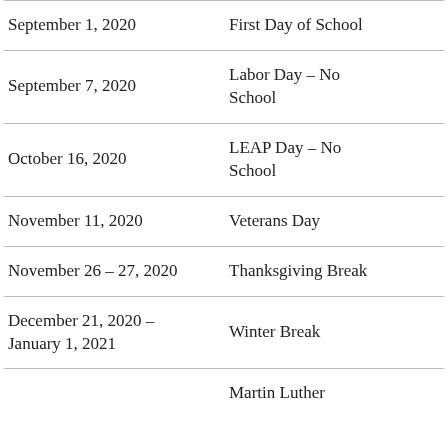| Date | Event |
| --- | --- |
| September 1, 2020 | First Day of School |
| September 7, 2020 | Labor Day – No School |
| October 16, 2020 | LEAP Day – No School |
| November 11, 2020 | Veterans Day |
| November 26 – 27, 2020 | Thanksgiving Break |
| December 21, 2020 – January 1, 2021 | Winter Break |
|  | Martin Luther |